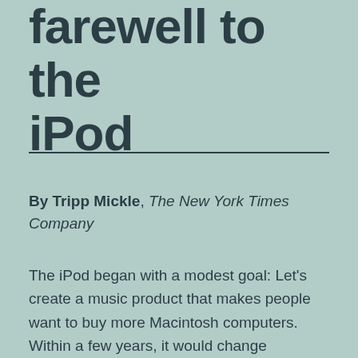farewell to the iPod
By Tripp Mickle, The New York Times Company
The iPod began with a modest goal: Let's create a music product that makes people want to buy more Macintosh computers. Within a few years, it would change consumer